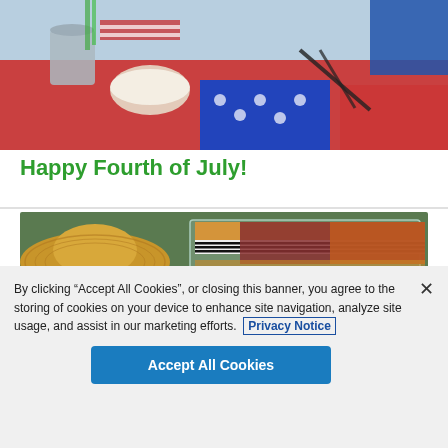[Figure (photo): Craft supplies including scissors, fabric, bowls, and patriotic red, white, and blue decorations on a table]
Happy Fourth of July!
[Figure (photo): Straw hat, folded colorful fabrics in mustard, burgundy, orange and striped patterns stored in a clear organizer]
By clicking “Accept All Cookies”, or closing this banner, you agree to the storing of cookies on your device to enhance site navigation, analyze site usage, and assist in our marketing efforts. Privacy Notice
Accept All Cookies